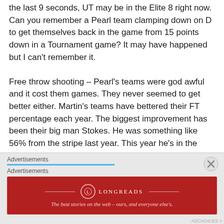the last 9 seconds, UT may be in the Elite 8 right now. Can you remember a Pearl team clamping down on D to get themselves back in the game from 15 points down in a Tournament game? It may have happened but I can't remember it.

Free throw shooting – Pearl's teams were god awful and it cost them games. They never seemed to get better either. Martin's teams have bettered their FT percentage each year. The biggest improvement has been their big man Stokes. He was something like 56% from the stripe last year. This year he's in the 70% range. That's a big deal
[Figure (other): Advertisement overlay with Longreads banner ad. Contains 'Advertisements' label, blue underline bar, close button (X), and a red Longreads advertisement banner with logo and tagline 'The best stories on the web – ours, and everyone else's.']